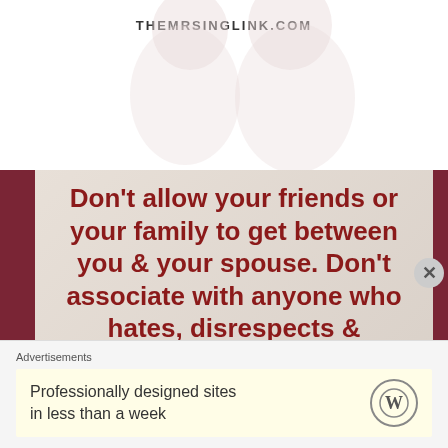THEMRSINGLINK.COM
[Figure (illustration): Faded watermark illustration of a couple silhouette in the background behind site header]
Don't allow your friends or your family to get between you & your spouse. Don't associate with anyone who hates, disrespects & dishonors your spouse. Make them clearly understand that you & your spouse are one. Anyone
Advertisements
Professionally designed sites in less than a week